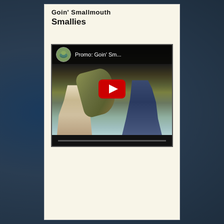Goin' Smallmouth
Smallies
[Figure (screenshot): YouTube video thumbnail showing two men on a boat, one holding a large smallmouth bass fish. The video title reads 'Promo: Goin' Sm...' with a YouTube play button overlay and a circular fish/lake thumbnail in the top left corner.]